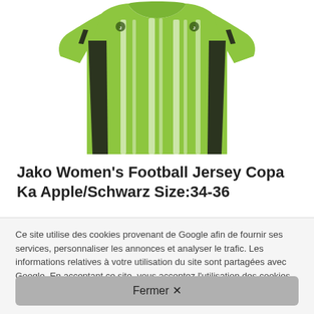[Figure (photo): A lime green (apple green) women's football jersey with white vertical stripes and black side panels, short sleeves, brand logo on left chest and right chest area.]
Jako Women's Football Jersey Copa Ka Apple/Schwarz Size:34-36
Ce site utilise des cookies provenant de Google afin de fournir ses services, personnaliser les annonces et analyser le trafic. Les informations relatives à votre utilisation du site sont partagées avec Google. En acceptant ce site, vous acceptez l'utilisation des cookies. En savoir plus
Fermer ✕